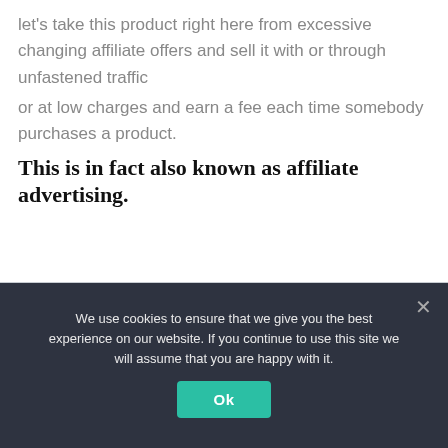let's take this product right here from excessive changing affiliate offers and sell it with or through unfastened traffic or at low charges and earn a fee each time somebody purchases a product.
This is in fact also known as affiliate advertising.
[Figure (photo): Overhead view of a person typing on a laptop on a desk, with notebooks, papers, and highlighter pens visible]
We use cookies to ensure that we give you the best experience on our website. If you continue to use this site we will assume that you are happy with it.